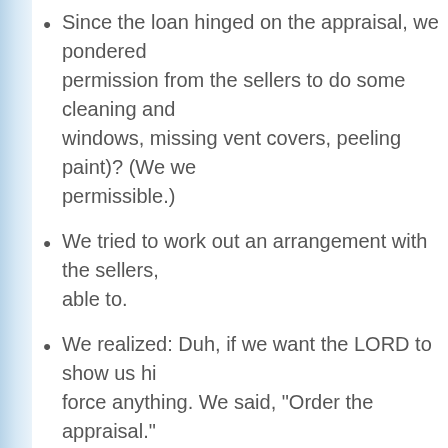Since the loan hinged on the appraisal, we pondered permission from the sellers to do some cleaning and windows, missing vent covers, peeling paint)? (We we permissible.)
We tried to work out an arrangement with the sellers, able to.
We realized: Duh, if we want the LORD to show us hi force anything. We said, "Order the appraisal."
The week of the appraisal, the area received torrentia
The appraisal was A.O.K. except for the basement. T water in the basement. If the basement was shown to waterproofed, it would be approved.
I should point out that the appraisal demonstrated tha St Louis, fixing windows and peeling paint, etc. would difference in the outcome of the appraisal. The only th